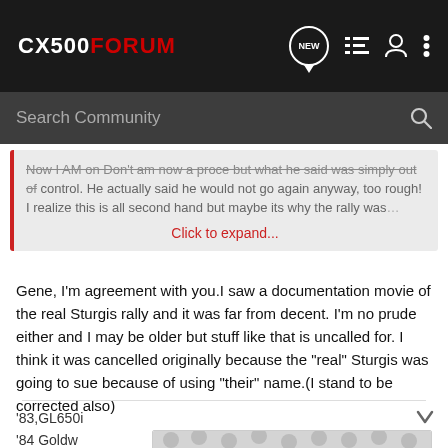CX500FORUM
Search Community
Now I AM on Don't am now a proce but what he said was simply out of control. He actually said he would not go again anyway, too rough! I realize this is all second hand but maybe its why the rally was… Click to expand...
Gene, I'm agreement with you.I saw a documentation movie of the real Sturgis rally and it was far from decent. I'm no prude either and I may be older but stuff like that is uncalled for. I think it was cancelled originally because the "real" Sturgis was going to sue because of using "their" name.(I stand to be corrected also)
'83,GL650i
'84 Goldw